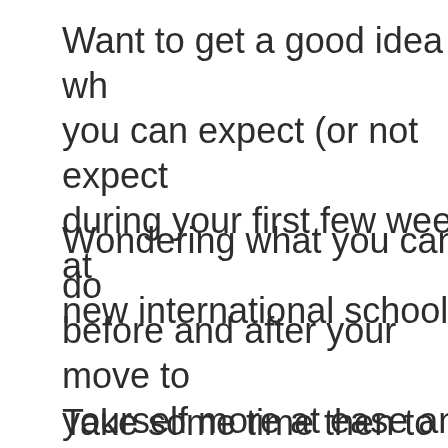Want to get a good idea of what you can expect (or not expect) during your first few weeks at your new international school?
Wondering what you can do before and after your move to feel yourself more at ease and to be better prepared?
Take some time then to read t...